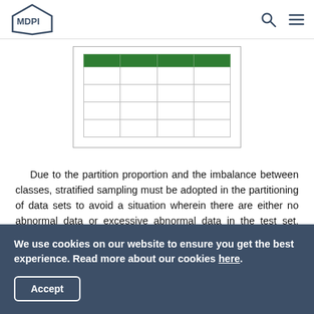MDPI
[Figure (table-as-image): A table with a green header row and 4 rows of empty cells, 4 columns wide, shown as a cropped partial view]
Due to the partition proportion and the imbalance between classes, stratified sampling must be adopted in the partitioning of data sets to avoid a situation wherein there are either no abnormal data or excessive abnormal data in the test set, which will subsequently affect the final experimental results. Here, ANN and random forest are used for detecting the abnormal data. The entire procedure of super-parameter optimization is
We use cookies on our website to ensure you get the best experience. Read more about our cookies here.
Accept